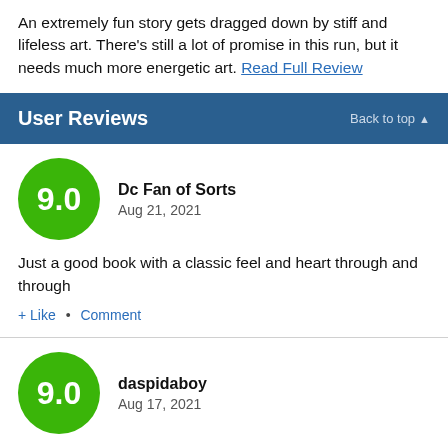An extremely fun story gets dragged down by stiff and lifeless art. There's still a lot of promise in this run, but it needs much more energetic art. Read Full Review
User Reviews
[Figure (other): Green circle score badge showing 9.0]
Dc Fan of Sorts
Aug 21, 2021
Just a good book with a classic feel and heart through and through
+ Like • Comment
[Figure (other): Green circle score badge showing 9.0 (partially visible)]
daspidaboy
Aug 17, 2021